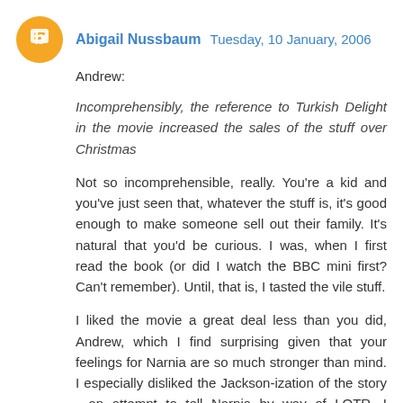Abigail Nussbaum  Tuesday, 10 January, 2006
Andrew:
Incomprehensibly, the reference to Turkish Delight in the movie increased the sales of the stuff over Christmas
Not so incomprehensible, really. You're a kid and you've just seen that, whatever the stuff is, it's good enough to make someone sell out their family. It's natural that you'd be curious. I was, when I first read the book (or did I watch the BBC mini first? Can't remember). Until, that is, I tasted the vile stuff.
I liked the movie a great deal less than you did, Andrew, which I find surprising given that your feelings for Narnia are so much stronger than mind. I especially disliked the Jackson-ization of the story - an attempt to tell Narnia by way of LOTR. I thought the film looked plastic and fake, and I really wish someone had taught the kid who played Peter how to hold a sword.